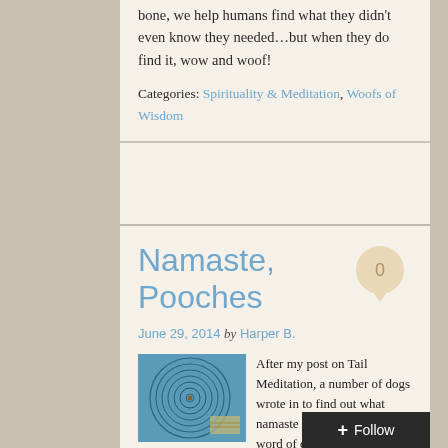bone, we help humans find what they didn't even know they needed...but when they do find it, wow and woof!
Categories: Spirituality & Meditation, Woofs of Wisdom
Namaste, Pooches
June 29, 2014 by Harper B.
[Figure (photo): Abstract spiral/concentric circles artwork in teal/blue tones with a small brown dot at center]
After my post on Tail Meditation, a number of dogs wrote in to find out what namaste means. Namaste is a word of deep spiritual significance.